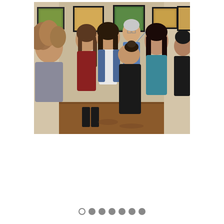[Figure (photo): A group of students standing in an art gallery viewed from behind, looking at framed artwork on cream-colored walls. An older man in a blue shirt gestures toward one of the paintings. The students are of various heights and wear casual clothing including denim jackets, hoodies, and sweaters.]